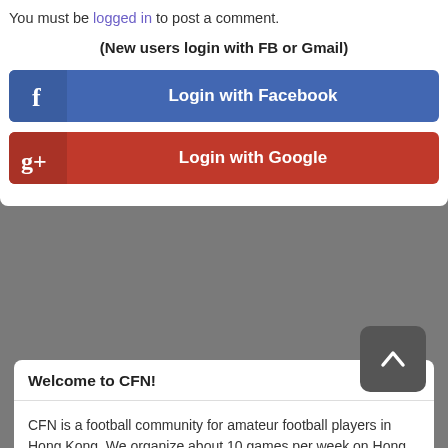You must be logged in to post a comment.
(New users login with FB or Gmail)
[Figure (screenshot): Login with Facebook button - blue rounded rectangle with Facebook 'f' icon on left and 'Login with Facebook' text]
[Figure (screenshot): Login with Google button - red rounded rectangle with Google+ icon on left and 'Login with Google' text]
Welcome to CFN!
CFN is a football community for amateur football players in Hong Kong. We organize about 10 games per week on Hong Kong Island and Kowloon.
Established in 2009, we have organized more than 3000 games to date and we have an on-going active player base of over 300 players.
Become one of us by One-Clicking the login with Facebook button and sign up for our games on the sign up section or click here.
Before you sign up, please go here first: Sign up method.